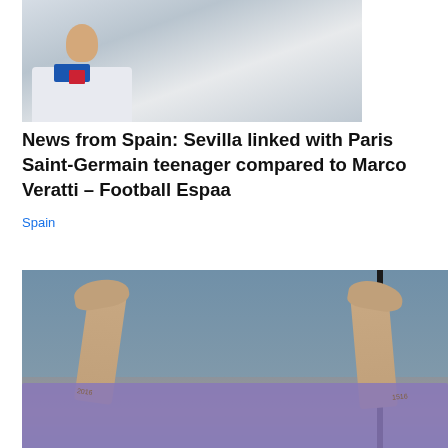[Figure (photo): Young male footballer in a white kit with blue and red collar, cropped at upper body, light grey background]
News from Spain: Sevilla linked with Paris Saint-Germain teenager compared to Marco Veratti – Football Espaa
Spain
[Figure (photo): Close-up of a person's bare feet and lower legs resting on a purple/lavender towel, with a dark vertical window frame and blue water visible in the background. Tattoos visible on both ankles.]